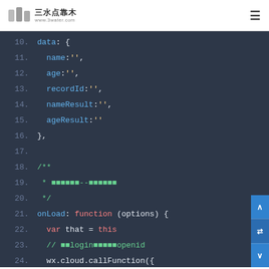三水点靠木 www.3water.com
[Figure (screenshot): Code editor screenshot showing JavaScript/WeChat Mini Program code lines 10-25 on a dark background (#2d3748). Lines show data object with fields name, age, recordId, nameResult, ageResult; a JSDoc comment block; and onLoad function with var that = this, a comment about login and openid, wx.cloud.callFunction call, and name: 'login'.]